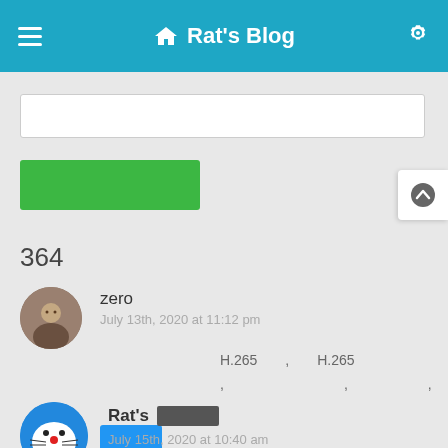Rat's Blog
364
zero
July 13th, 2020 at 11:12 pm
H.265 , H.265 , , , ,
Rat's [redacted]
July 15th, 2020 at 10:40 am